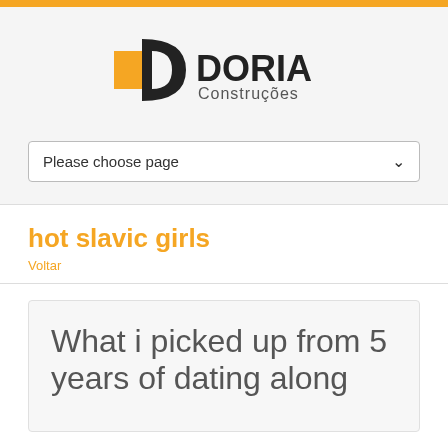[Figure (logo): Doria Construções logo with orange square and black D letter shape, followed by DORIA in bold black and Construções in grey]
Please choose page
hot slavic girls
Voltar
What i picked up from 5 years of dating along